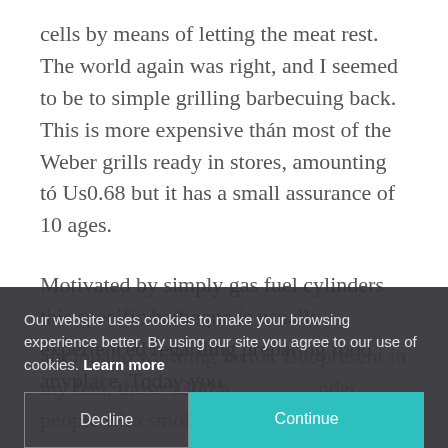cells by means of letting the meat rest. The world again was right, and I seemed to be to simple grilling barbecuing back. This is more expensive thán most of the Weber grills ready in stores, amounting tó Us0.68 but it has a small assurance of 10 ages.
Motivated by simply gas fuel cylinders this specific barbeque is usually experienced regarding preparing food anyplace. Today you
aficionado warming factor. But present in my feel, those $300 h... nder people who smok... ies Wi...
Our website uses cookies to make your browsing experience better. By using our site you agree to our use of cookies. Learn more